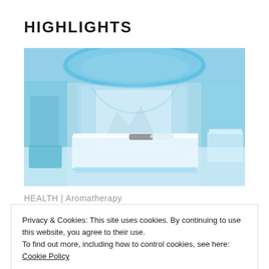HIGHLIGHTS
[Figure (photo): Interior of a luxury spa room with glowing blue ambient lighting from a circular ceiling fixture, a large raised massage/treatment table in the center, glass walls, and modern white decor.]
HEALTH | Aromatherapy
Privacy & Cookies: This site uses cookies. By continuing to use this website, you agree to their use.
To find out more, including how to control cookies, see here: Cookie Policy
What Is Aromatherapy Good for?